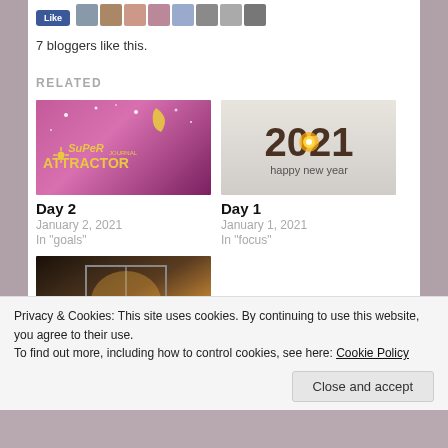7 bloggers like this.
RELATED
[Figure (photo): Super Attractor Journal book cover image on pink/purple background with moon and stars]
Day 2
January 2, 2021
In "goals"
[Figure (photo): 2021 happy new year graphic with glowing light in the year digits]
Day 1
January 1, 2021
In "focus"
[Figure (photo): Room interior with window and warm light, buckets on the floor]
Privacy & Cookies: This site uses cookies. By continuing to use this website, you agree to their use.
To find out more, including how to control cookies, see here: Cookie Policy